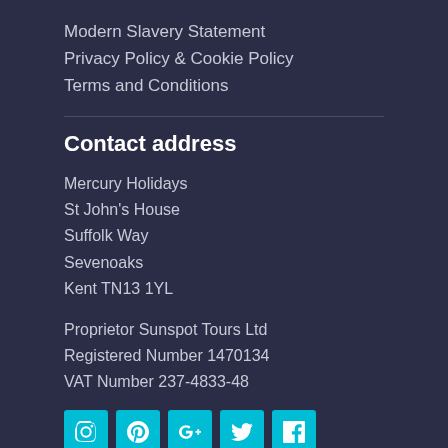Modern Slavery Statement
Privacy Policy & Cookie Policy
Terms and Conditions
Contact address
Mercury Holidays
St John's House
Suffolk Way
Sevenoaks
Kent TN13 1YL
Proprietor Sunspot Tours Ltd
Registered Number 1470134
VAT Number 237-4833-48
[Figure (infographic): Row of 5 social media icon buttons in cyan/teal: Instagram, Pinterest, Google+, Twitter, Facebook]
Travel Advice and Safety Abroad